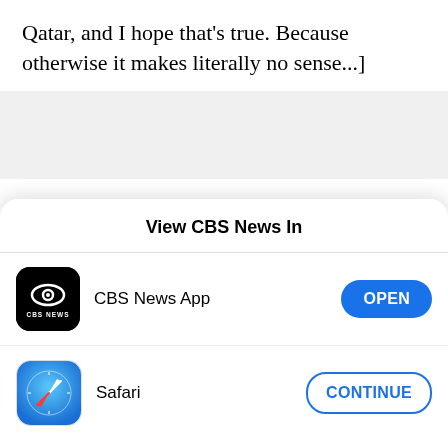Qatar, and I hope that's true. Because otherwise it makes literally no sense...]
[Figure (other): Gray placeholder advertisement box]
It's not just that temperatures routinely top 120 degrees in the summer or that Qatar has a dismal
View CBS News In
[Figure (screenshot): CBS News App icon - black background with CBS eye logo and CBS NEWS text]
CBS News App
OPEN
[Figure (screenshot): Safari browser icon - compass on blue gradient background]
Safari
CONTINUE